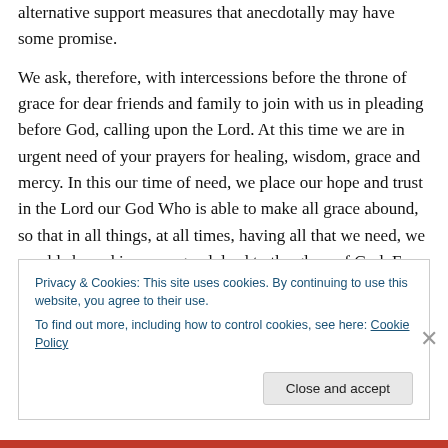alternative support measures that anecdotally may have some promise.
We ask, therefore, with intercessions before the throne of grace for dear friends and family to join with us in pleading before God, calling upon the Lord. At this time we are in urgent need of your prayers for healing, wisdom, grace and mercy. In this our time of need, we place our hope and trust in the Lord our God Who is able to make all grace abound, so that in all things, at all times, having all that we need, we would abound in every good deed to the glory of God. For we know that in all things, God works for the
Privacy & Cookies: This site uses cookies. By continuing to use this website, you agree to their use.
To find out more, including how to control cookies, see here: Cookie Policy
Close and accept